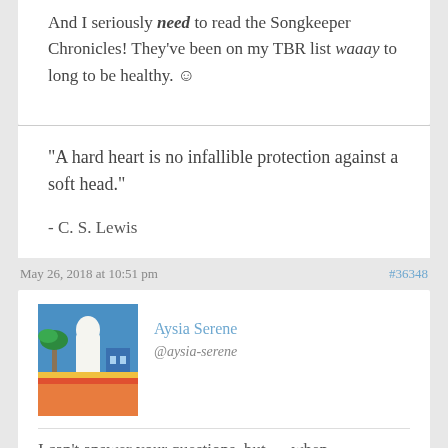And I seriously need to read the Songkeeper Chronicles! They've been on my TBR list waaay to long to be healthy. ☺
"A hard heart is no infallible protection against a soft head."
- C. S. Lewis
May 26, 2018 at 10:51 pm
#36348
Aysia Serene
@aysia-serene
I can't answer your questions, but — when